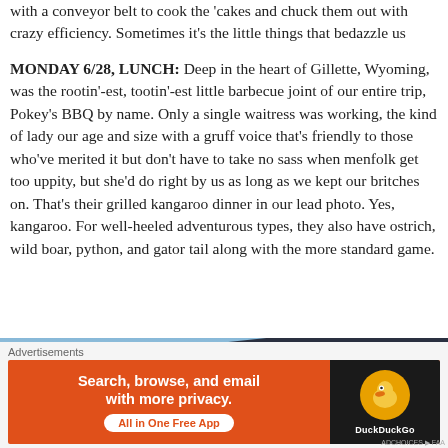with a conveyor belt to cook the 'cakes and chuck them out with crazy efficiency. Sometimes it's the little things that bedazzle us
MONDAY 6/28, LUNCH: Deep in the heart of Gillette, Wyoming, was the rootin'-est, tootin'-est little barbecue joint of our entire trip, Pokey's BBQ by name. Only a single waitress was working, the kind of lady our age and size with a gruff voice that's friendly to those who've merited it but don't have to take no sass when menfolk get too uppity, but she'd do right by us as long as we kept our britches on. That's their grilled kangaroo dinner in our lead photo. Yes, kangaroo. For well-heeled adventurous types, they also have ostrich, wild boar, python, and gator tail along with the more standard game.
[Figure (photo): Partial exterior photo of a building with a dark roof against a blue sky, and a partial sign visible in lower right. A close/dismiss button (X circle) appears in the upper right.]
Advertisements
[Figure (other): DuckDuckGo advertisement banner. Orange background on left reads: 'Search, browse, and email with more privacy. All in One Free App'. Dark right panel shows DuckDuckGo logo (duck icon) and brand name.]